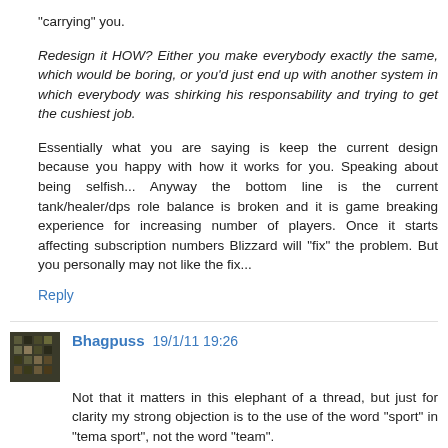"carrying" you.
Redesign it HOW? Either you make everybody exactly the same, which would be boring, or you'd just end up with another system in which everybody was shirking his responsability and trying to get the cushiest job.
Essentially what you are saying is keep the current design because you happy with how it works for you. Speaking about being selfish... Anyway the bottom line is the current tank/healer/dps role balance is broken and it is game breaking experience for increasing number of players. Once it starts affecting subscription numbers Blizzard will "fix" the problem. But you personally may not like the fix...
Reply
Bhagpuss 19/1/11 19:26
Not that it matters in this elephant of a thread, but just for clarity my strong objection is to the use of the word "sport" in "tema sport", not the word "team".